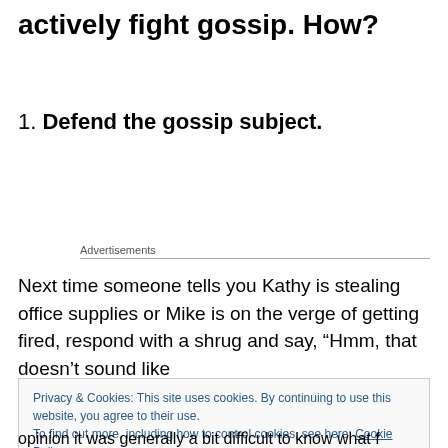actively fight gossip. How?
1. Defend the gossip subject.
Advertisements
Next time someone tells you Kathy is stealing office supplies or Mike is on the verge of getting fired, respond with a shrug and say, “Hmm, that doesn’t sound like
Privacy & Cookies: This site uses cookies. By continuing to use this website, you agree to their use.
To find out more, including how to control cookies, see here: Cookie Policy
Close and accept
opinion it was generally a bit difficult to know what f